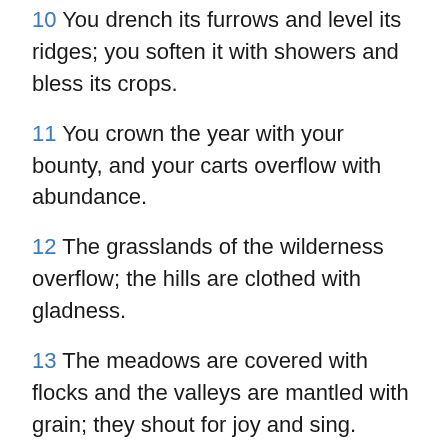10 You drench its furrows and level its ridges; you soften it with showers and bless its crops.
11 You crown the year with your bounty, and your carts overflow with abundance.
12 The grasslands of the wilderness overflow; the hills are clothed with gladness.
13 The meadows are covered with flocks and the valleys are mantled with grain; they shout for joy and sing.